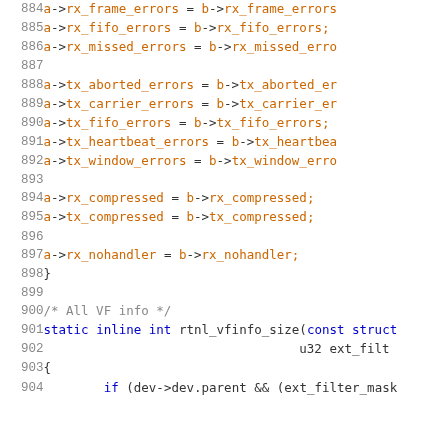Code listing lines 884-904 showing C source code for network statistics assignment and rtnl_vfinfo_size function